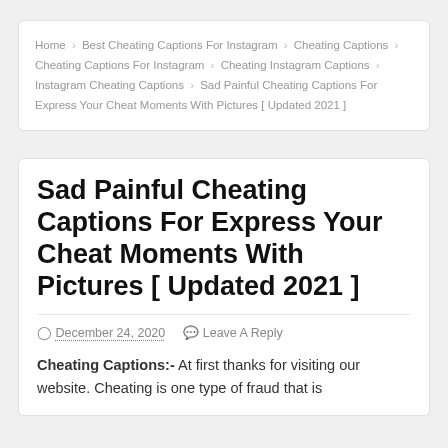Home > Best Cheating Captions For Instagram > Cheating Captions > Cheating Captions For Instagram > Cheating Instagram Captions > Instagram Cheating Captions > Sad Painful Cheating Captions For Express Your Cheat Moments With Pictures [ Updated 2021 ]
Sad Painful Cheating Captions For Express Your Cheat Moments With Pictures [ Updated 2021 ]
December 24, 2020   Leave A Reply
Cheating Captions:- At first thanks for visiting our website. Cheating is one type of fraud that is